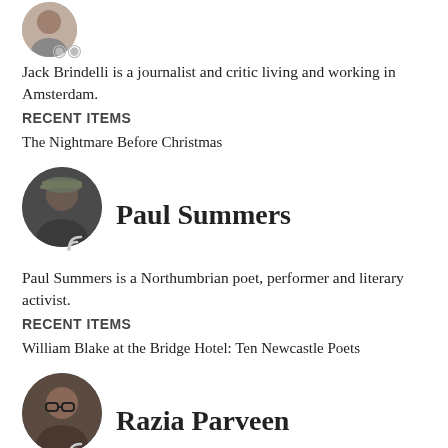[Figure (photo): Circular avatar photo of Jack Brindelli, partially visible at top]
Jack Brindelli is a journalist and critic living and working in Amsterdam.
RECENT ITEMS
The Nightmare Before Christmas
[Figure (photo): Circular avatar photo of Paul Summers wearing a cap]
Paul Summers
Paul Summers is a Northumbrian poet, performer and literary activist.
RECENT ITEMS
William Blake at the Bridge Hotel: Ten Newcastle Poets
[Figure (photo): Circular avatar photo of Razia Parveen wearing glasses]
Razia Parveen
Razia Parveen has a Phd in Postcolonialism, Culture and